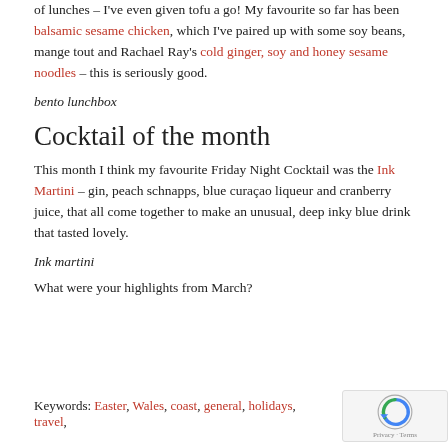of lunches – I've even given tofu a go! My favourite so far has been balsamic sesame chicken, which I've paired up with some soy beans, mange tout and Rachael Ray's cold ginger, soy and honey sesame noodles – this is seriously good.
bento lunchbox
Cocktail of the month
This month I think my favourite Friday Night Cocktail was the Ink Martini – gin, peach schnapps, blue curaçao liqueur and cranberry juice, that all come together to make an unusual, deep inky blue drink that tasted lovely.
Ink martini
What were your highlights from March?
Keywords: Easter, Wales, coast, general, holidays, travel,